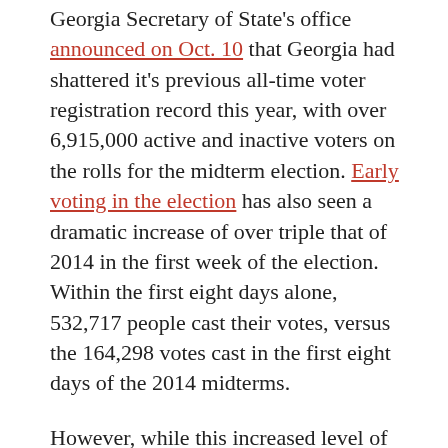Georgia Secretary of State's office announced on Oct. 10 that Georgia had shattered it's previous all-time voter registration record this year, with over 6,915,000 active and inactive voters on the rolls for the midterm election. Early voting in the election has also seen a dramatic increase of over triple that of 2014 in the first week of the election. Within the first eight days alone, 532,717 people cast their votes, versus the 164,298 votes cast in the first eight days of the 2014 midterms.
However, while this increased level of voter turnout may be encouraging for Democrats, there has been a long history of Democrats predicting that the state would flip to blue in previous election cycles, including in 2008, 2012, 2014, and most recently in 2016 – all of which fell short. In reference to why she feels that this